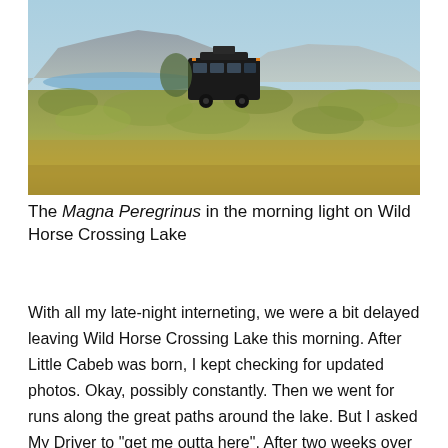[Figure (photo): A large black bus or RV (the Magna Peregrinus) parked in a sagebrush and dry grass landscape with a lake and mountain range visible in the background under a pale blue sky.]
The Magna Peregrinus in the morning light on Wild Horse Crossing Lake
With all my late-night interneting, we were a bit delayed leaving Wild Horse Crossing Lake this morning. After Little Cabeb was born, I kept checking for updated photos. Okay, possibly constantly. Then we went for runs along the great paths around the lake. But I asked My Driver to "get me outta here". After two weeks over 6000 feet, I needed to get to a lesser elevation.